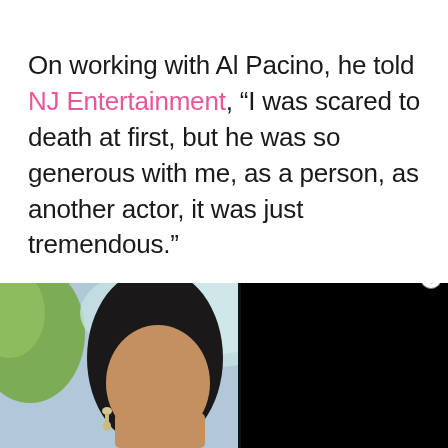On working with Al Pacino, he told NJ Entertainment, “I was scared to death at first, but he was so generous with me, as a person, as another actor, it was just tremendous.”
[Figure (photo): Film still showing a dark-haired woman with earrings in the foreground against an outdoor background with an umbrella visible; the right portion of the image is obscured by a black video player overlay with an X close button]